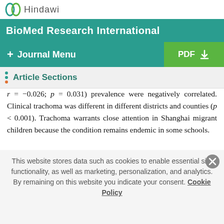Hindawi
BioMed Research International
+ Journal Menu | PDF
Article Sections
r = −0.026; p = 0.031) prevalence were negatively correlated. Clinical trachoma was different in different districts and counties (p < 0.001). Trachoma warrants close attention in Shanghai migrant children because the condition remains endemic in some schools.
This website stores data such as cookies to enable essential site functionality, as well as marketing, personalization, and analytics. By remaining on this website you indicate your consent. Cookie Policy